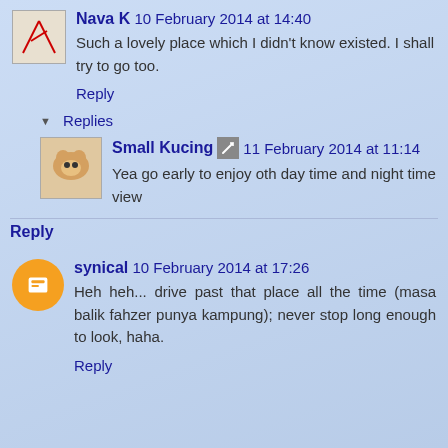Nava K 10 February 2014 at 14:40
Such a lovely place which I didn't know existed. I shall try to go too.
Reply
Replies
Small Kucing 11 February 2014 at 11:14
Yea go early to enjoy oth day time and night time view
Reply
synical 10 February 2014 at 17:26
Heh heh... drive past that place all the time (masa balik fahzer punya kampung); never stop long enough to look, haha.
Reply